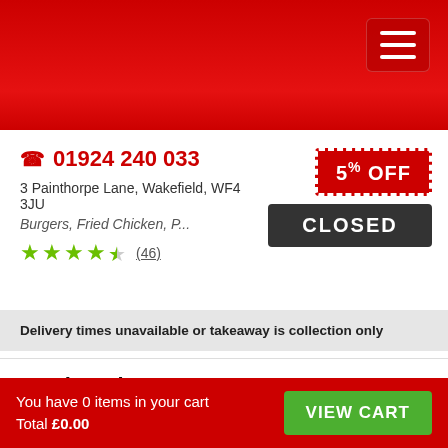Navigation header with hamburger menu
📞 01924 240 033
3 Painthorpe Lane, Wakefield, WF4 3JU
Burgers, Fried Chicken, P...
(46) stars rating
[Figure (infographic): 5% OFF discount badge in red with dashed white border]
[Figure (infographic): CLOSED button in dark grey]
Delivery times unavailable or takeaway is collection only
Meal Deals
Pizzas
Calzones
You have 0 items in your cart
Total £0.00
VIEW CART